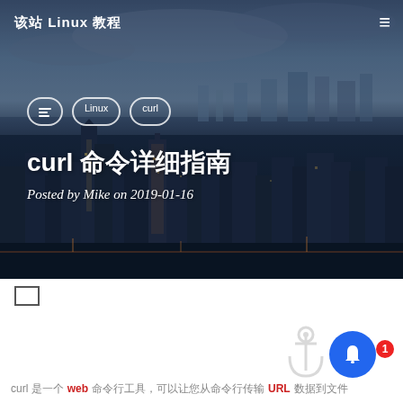该站 Linux 教程
[Figure (photo): Aerial night cityscape of Manhattan, New York City, with skyscrapers lit up and a river in the background. Blue-toned dusk/night photo.]
curl 命令详细指南
Posted by Mike on 2019-01-16
如何 Linux 命令行中使用命令行 IP 地址工具
3 days ago
curl 是一个 URL 命令行工具